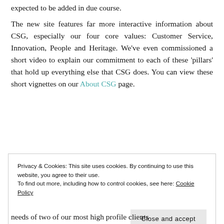expected to be added in due course.
The new site features far more interactive information about CSG, especially our four core values: Customer Service, Innovation, People and Heritage. We've even commissioned a short video to explain our commitment to each of these 'pillars' that hold up everything else that CSG does. You can view these short vignettes on our About CSG page.
Privacy & Cookies: This site uses cookies. By continuing to use this website, you agree to their use.
To find out more, including how to control cookies, see here: Cookie Policy
Close and accept
needs of two of our most high profile clients